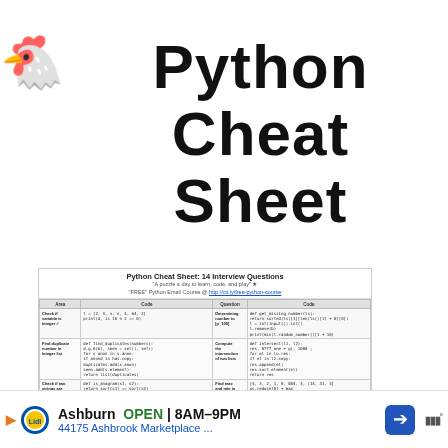🐔 Python Cheat Sheet
[Figure (screenshot): Thumbnail of Python Cheat Sheet: 14 Interview Questions document showing a table with Python coding problems and solutions, decorated with cartoon chicken illustrations.]
Ashburn  OPEN  8AM–9PM   44175 Ashbrook Marketplace ...